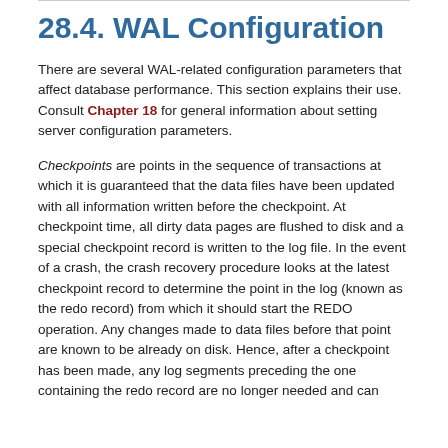28.4. WAL Configuration
There are several WAL-related configuration parameters that affect database performance. This section explains their use. Consult Chapter 18 for general information about setting server configuration parameters.
Checkpoints are points in the sequence of transactions at which it is guaranteed that the data files have been updated with all information written before the checkpoint. At checkpoint time, all dirty data pages are flushed to disk and a special checkpoint record is written to the log file. In the event of a crash, the crash recovery procedure looks at the latest checkpoint record to determine the point in the log (known as the redo record) from which it should start the REDO operation. Any changes made to data files before that point are known to be already on disk. Hence, after a checkpoint has been made, any log segments preceding the one containing the redo record are no longer needed and can